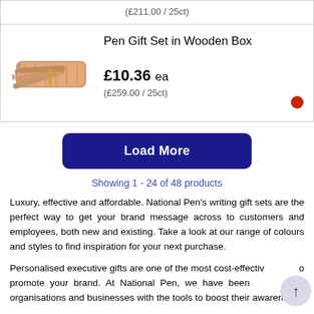(£211.00 / 25ct)
[Figure (photo): Pen gift set in wooden box — copper/rose gold pens in a wooden case]
Pen Gift Set in Wooden Box
£10.36 ea
(£259.00 / 25ct)
Load More
Showing 1 - 24 of 48 products
Luxury, effective and affordable. National Pen's writing gift sets are the perfect way to get your brand message across to customers and employees, both new and existing. Take a look at our range of colours and styles to find inspiration for your next purchase.
Personalised executive gifts are one of the most cost-effective ways to promote your brand. At National Pen, we have been providing organisations and businesses with the tools to boost their awareness